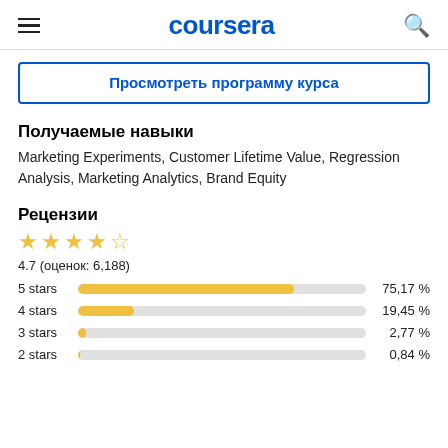coursera
Просмотреть программу курса
Получаемые навыки
Marketing Experiments, Customer Lifetime Value, Regression Analysis, Marketing Analytics, Brand Equity
Рецензии
[Figure (bar-chart): Star ratings]